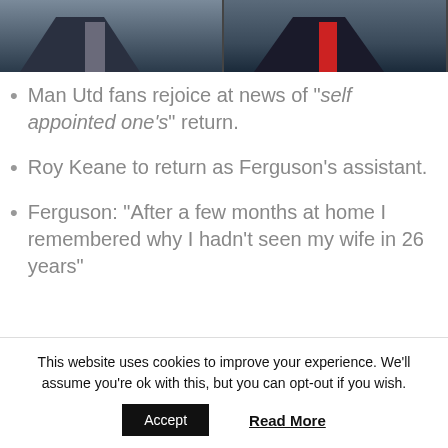[Figure (photo): Two men in suits and ties, cropped to show collar/chest area, side by side]
Man Utd fans rejoice at news of “self appointed one’s” return.
Roy Keane to return as Ferguson’s assistant.
Ferguson: “After a few months at home I remembered why I hadn’t seen my wife in 26 years”
This website uses cookies to improve your experience. We’ll assume you’re ok with this, but you can opt-out if you wish.
Accept   Read More